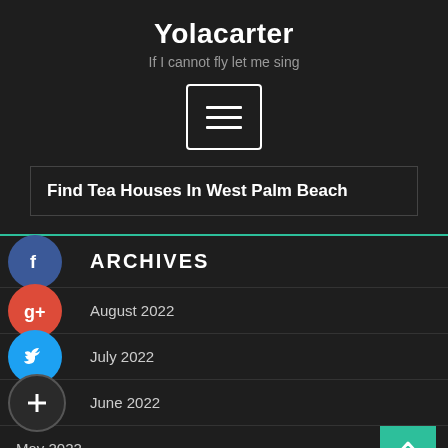Yolacarter
If I cannot fly let me sing
[Figure (other): Hamburger menu button icon with three horizontal lines inside a rounded rectangle border]
Find Tea Houses In West Palm Beach
ARCHIVES
August 2022
July 2022
June 2022
May 2022
April 2022